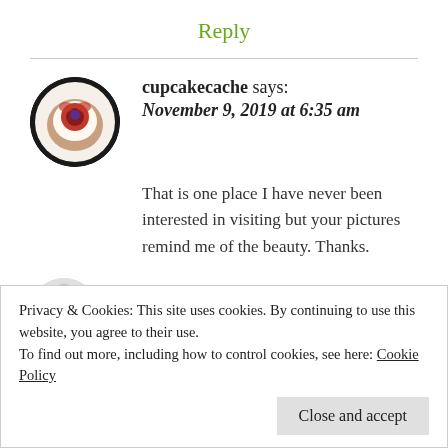Reply
cupcakecache says: November 9, 2019 at 6:35 am
That is one place I have never been interested in visiting but your pictures remind me of the beauty. Thanks.
Privacy & Cookies: This site uses cookies. By continuing to use this website, you agree to their use.
To find out more, including how to control cookies, see here: Cookie Policy
Close and accept